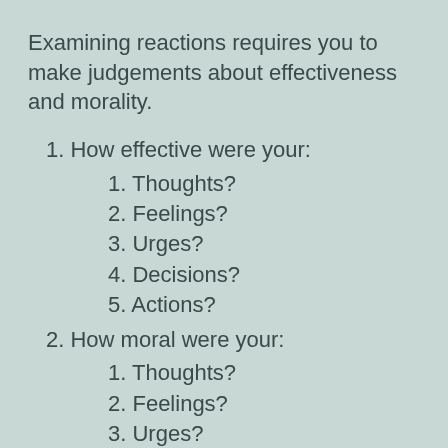Examining reactions requires you to make judgements about effectiveness and morality.
1. How effective were your:
1. Thoughts?
2. Feelings?
3. Urges?
4. Decisions?
5. Actions?
2. How moral were your:
1. Thoughts?
2. Feelings?
3. Urges?